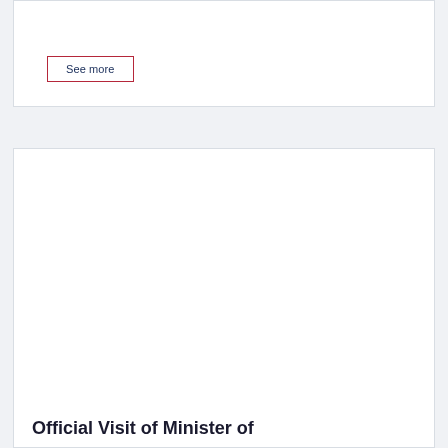See more
[Figure (photo): White card area with image placeholder for an official visit article]
Official Visit of Minister of